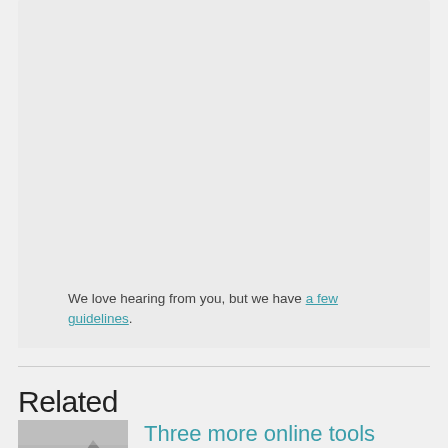We love hearing from you, but we have a few guidelines.
Related
Three more online tools